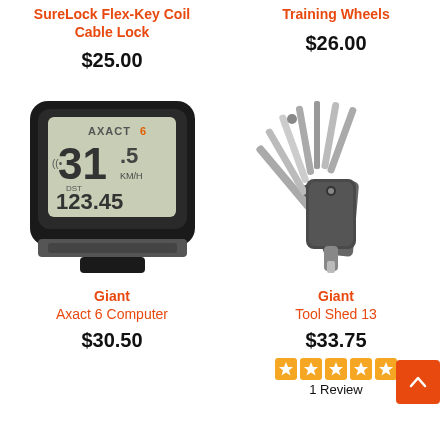SureLock Flex-Key Coil Cable Lock
$25.00
Training Wheels
$26.00
[Figure (photo): Giant Axact 6 bike computer, black device with LCD display showing speed 31.5 KM/H and distance 123.45]
Giant Axact 6 Computer
$30.50
[Figure (photo): Giant Tool Shed 13 multi-tool, a folded bike multi-tool with various hex keys and screwdrivers fanned out]
Giant Tool Shed 13
$33.75
1 Review